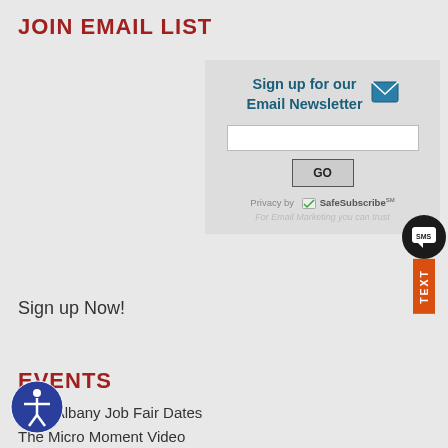JOIN EMAIL LIST
[Figure (infographic): Email newsletter signup box with text 'Sign up for our Email Newsletter', an email icon, text input field, GO button, Privacy by SafeSubscribe℠ notice, and 'For Email Marketing you can trust' tagline]
Sign up Now!
EVENTS
2022 Albany Job Fair Dates
The Micro Moment Video
SEO/SEM Workshops
EventBrite Registration